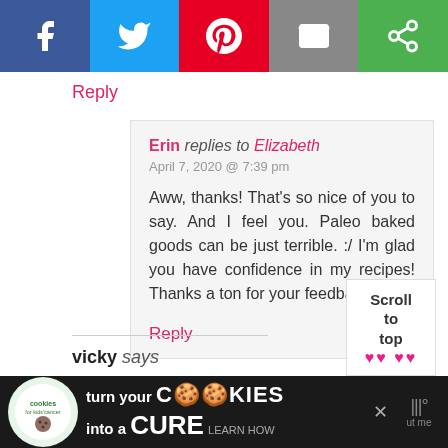[Figure (infographic): Social share bar with Facebook, Twitter, Pinterest, Email, and share icons]
Reply
Erin replies to Elizabeth
April 7, 2020 @ 7:39 pm

Aww, thanks! That's so nice of you to say. And I feel you. Paleo baked goods can be just terrible. :/ I'm glad you have confidence in my recipes! Thanks a ton for your feedback. :)
Reply
vicky says
[Figure (infographic): Scroll to top button with hearts]
[Figure (infographic): Advertisement banner: cookies for kids cancer - turn your cookies into a CURE LEARN HOW]